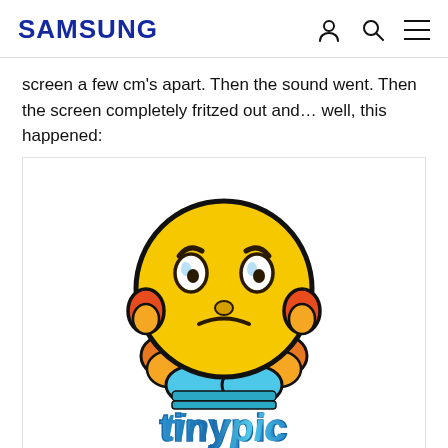SAMSUNG
screen a few cm's apart. Then the sound went. Then the screen completely fritzed out and… well, this happened:
[Figure (illustration): Tinypic mascot: a frustrated yellow cartoon emoji character with orange ear-muffs/headphones, blue hands/body, frowning expression, above the 'tinypic' logo in blue bubble letters]